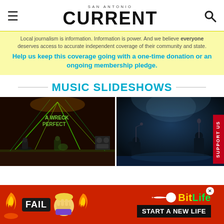SAN ANTONIO CURRENT
Local journalism is information. Information is power. And we believe everyone deserves access to accurate independent coverage of their community and state. Help us keep this coverage going with a one-time donation or an ongoing membership pledge.
MUSIC SLIDESHOWS
[Figure (photo): Concert photo showing band on stage with green laser lights and 'A Wreck Perfect' signage]
[Figure (photo): Concert photo showing silhouettes of performers on stage with blue haze lighting]
[Figure (advertisement): BitLife game advertisement with FAIL text, emoji, and 'START A NEW LIFE' call to action on red background]